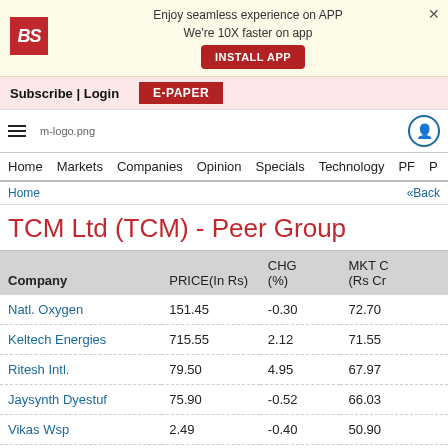[Figure (logo): Business Standard (BS) app install banner with logo, text and install button]
Subscribe | Login   E-PAPER
[Figure (logo): Navigation bar with hamburger menu, m-logo.png, and user icon]
Home  Markets  Companies  Opinion  Specials  Technology  PF  P
Home  «Back
TCM Ltd (TCM) - Peer Group
| Company | PRICE(In Rs) | CHG (%) | MKT C (Rs Cr |
| --- | --- | --- | --- |
| Natl. Oxygen | 151.45 | -0.30 | 72.70 |
| Keltech Energies | 715.55 | 2.12 | 71.55 |
| Ritesh Intl. | 79.50 | 4.95 | 67.97 |
| Jaysynth Dyestuf | 75.90 | -0.52 | 66.03 |
| Vikas Wsp | 2.49 | -0.40 | 50.90 |
| Sreechem Resins | 126.75 | 4.97 | 50.70 |